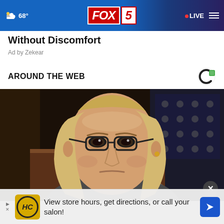68° FOX 5 LIVE
Without Discomfort
Ad by Zekear
AROUND THE WEB
[Figure (photo): Woman with blonde hair and glasses looking serious, with an American flag in the background]
View store hours, get directions, or call your salon!